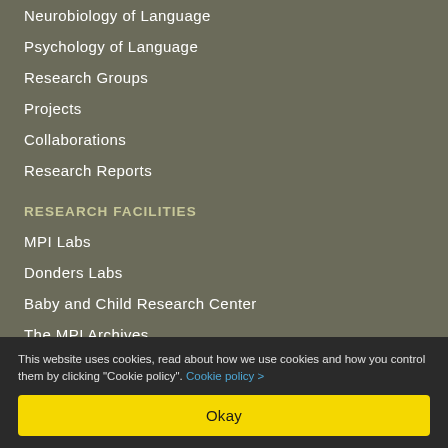Neurobiology of Language
Psychology of Language
Research Groups
Projects
Collaborations
Research Reports
RESEARCH FACILITIES
MPI Labs
Donders Labs
Baby and Child Research Center
The MPI Archives
Library
IT Services
The Language Archive
This website uses cookies, read about how we use cookies and how you control them by clicking "Cookie policy". Cookie policy >
Okay